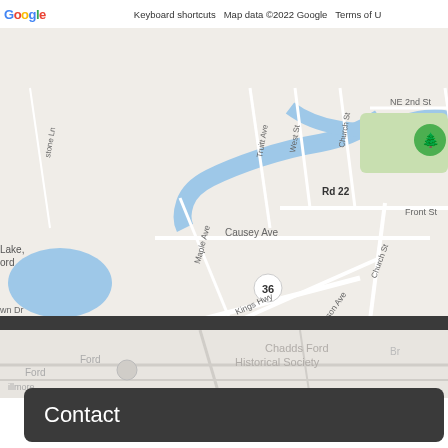[Figure (map): Google Maps screenshot showing Milford, Delaware area with a location pin dropped on Milford. Streets visible include Front St, S Walnut St, S Washington St, Causey Ave, Jefferson Ave, Maple Ave, Church St, North St, Kings Hwy, SE 2nd St, SE 3rd St, Mispillion St, S E Front St, Carlisle Ln, Columbia St, Marshall St, NE 2nd St, and Rd 22. Milford Dog Park is labeled in green to the upper right. Route 14 and Route 36 circles are visible. Bodies of water shown in blue. A black location pin is placed at the center labeled Milford. Map attribution reads: Keyboard shortcuts | Map data ©2022 Google | Terms of U...]
[Figure (map): Lower partial Google Maps view showing a faded/grayed map with text including 'Chadds Ford Historical Society' and 'Ford' partially visible. This appears to be a background web page map below the main map embed.]
Contact